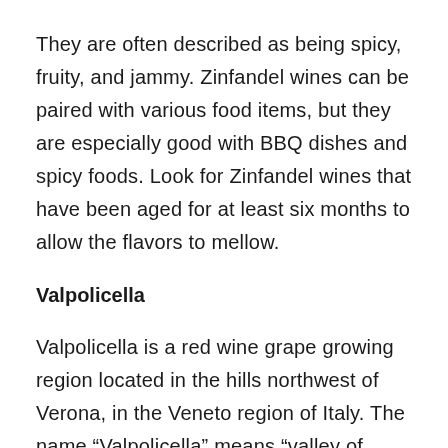They are often described as being spicy, fruity, and jammy. Zinfandel wines can be paired with various food items, but they are especially good with BBQ dishes and spicy foods. Look for Zinfandel wines that have been aged for at least six months to allow the flavors to mellow.
Valpolicella
Valpolicella is a red wine grape growing region located in the hills northwest of Verona, in the Veneto region of Italy. The name “Valpolicella” means “valley of many cellars,” It is indeed home to countless wineries producing some of Italy’s